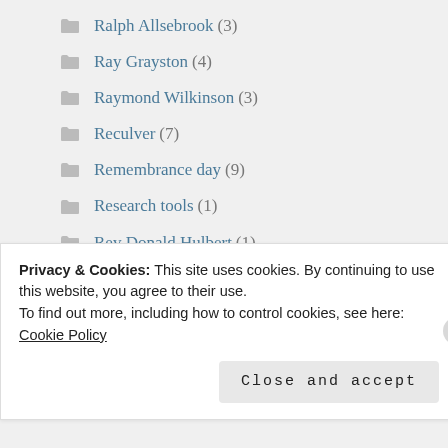Ralph Allsebrook (3)
Ray Grayston (4)
Raymond Wilkinson (3)
Reculver (7)
Remembrance day (9)
Research tools (1)
Rev Donald Hulbert (1)
Richard Bolitho (4)
Richard Macfarlane (1)
Privacy & Cookies: This site uses cookies. By continuing to use this website, you agree to their use.
To find out more, including how to control cookies, see here: Cookie Policy
Close and accept